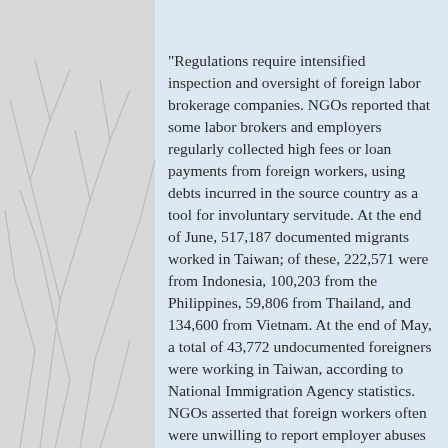"Regulations require intensified inspection and oversight of foreign labor brokerage companies. NGOs reported that some labor brokers and employers regularly collected high fees or loan payments from foreign workers, using debts incurred in the source country as a tool for involuntary servitude. At the end of June, 517,187 documented migrants worked in Taiwan; of these, 222,571 were from Indonesia, 100,203 from the Philippines, 59,806 from Thailand, and 134,600 from Vietnam. At the end of May, a total of 43,772 undocumented foreigners were working in Taiwan, according to National Immigration Agency statistics. NGOs asserted that foreign workers often were unwilling to report employer abuses for fear the employer would terminate the contract and deport them, leaving